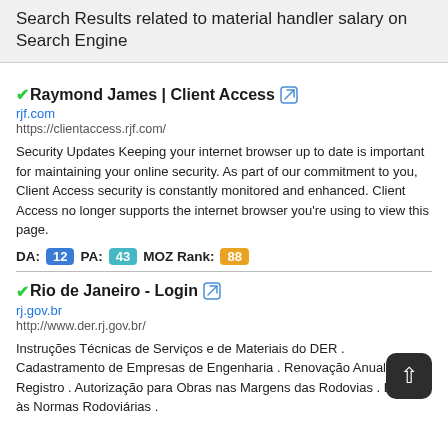Search Results related to material handler salary on Search Engine
✔Raymond James | Client Access 🔗
rjf.com
https://clientaccess.rjf.com/
Security Updates Keeping your internet browser up to date is important for maintaining your online security. As part of our commitment to you, Client Access security is constantly monitored and enhanced. Client Access no longer supports the internet browser you're using to view this page.
DA: 12  PA: 43  MOZ Rank: 88
✔Rio de Janeiro - Login 🔗
rj.gov.br
http://www.der.rj.gov.br/
Instruções Técnicas de Serviços e de Materiais do DER . Cadastramento de Empresas de Engenharia . Renovação Anual de Registro . Autorização para Obras nas Margens das Rodovias . Eventos às Normas Rodoviárias .